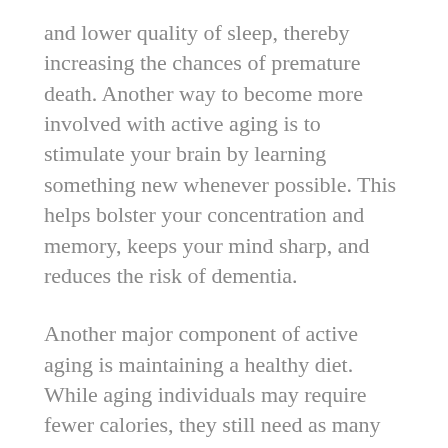and lower quality of sleep, thereby increasing the chances of premature death. Another way to become more involved with active aging is to stimulate your brain by learning something new whenever possible. This helps bolster your concentration and memory, keeps your mind sharp, and reduces the risk of dementia.
Another major component of active aging is maintaining a healthy diet. While aging individuals may require fewer calories, they still need as many nutrients as when they were younger, and perhaps even more. With a healthy diet and regular exercise, diseases such as cardiovascular disease, diabetes, and even some cancers can be staved off.
It can also be very helpful to embrace a positive attitude about aging, rather than to be intimidated or discouraged by it. A study conducted at Yale University